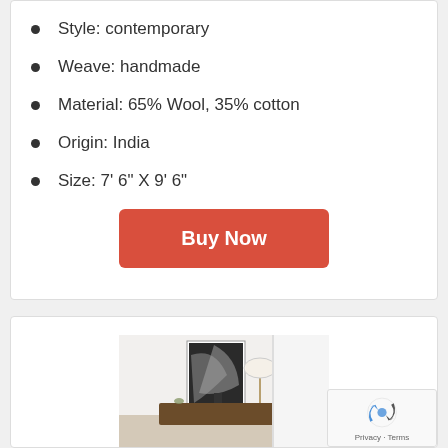Style: contemporary
Weave: handmade
Material: 65% Wool, 35% cotton
Origin: India
Size: 7' 6" X 9' 6"
[Figure (screenshot): Buy Now button (red/coral rounded rectangle)]
[Figure (photo): Product photo of a decorated room with artwork on wall]
[Figure (logo): reCAPTCHA logo with Privacy · Terms text]